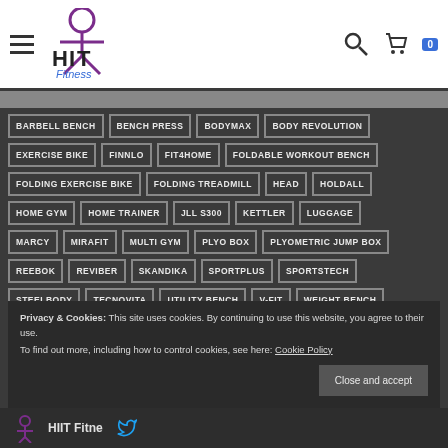HIIT Fitness website header with hamburger menu, logo, search icon, and cart (0)
BARBELL BENCH
BENCH PRESS
BODYMAX
BODY REVOLUTION
EXERCISE BIKE
FINNLO
FIT4HOME
FOLDABLE WORKOUT BENCH
FOLDING EXERCISE BIKE
FOLDING TREADMILL
HEAD
HOLDALL
HOME GYM
HOME TRAINER
JLL S300
KETTLER
LUGGAGE
MARCY
MIRAFIT
MULTI GYM
PLYO BOX
PLYOMETRIC JUMP BOX
REEBOK
REVIBER
SKANDIKA
SPORTPLUS
SPORTSTECH
STEELBODY
TECNOVITA
UTILITY BENCH
V-FIT
WEIGHT BENCH
WORKOUT BENCH
XERFIT
YORK FITNESS
Privacy & Cookies: This site uses cookies. By continuing to use this website, you agree to their use. To find out more, including how to control cookies, see here: Cookie Policy
HIIT Fitne... [footer]